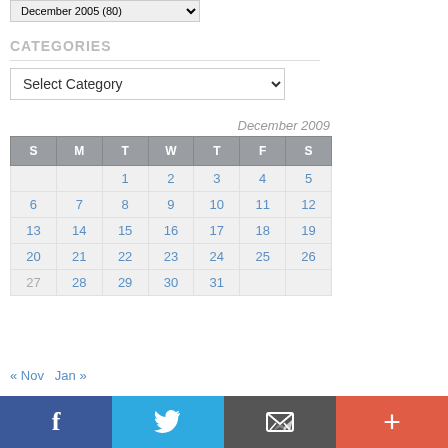[Figure (screenshot): Dropdown showing 'December 2005 (80)']
CATEGORIES
[Figure (screenshot): Select Category dropdown]
| S | M | T | W | T | F | S |
| --- | --- | --- | --- | --- | --- | --- |
|  |  | 1 | 2 | 3 | 4 | 5 |
| 6 | 7 | 8 | 9 | 10 | 11 | 12 |
| 13 | 14 | 15 | 16 | 17 | 18 | 19 |
| 20 | 21 | 22 | 23 | 24 | 25 | 26 |
| 27 | 28 | 29 | 30 | 31 |  |  |
« Nov   Jan »
[Figure (other): Social sharing bar with Facebook, Twitter, Email, and Plus buttons]